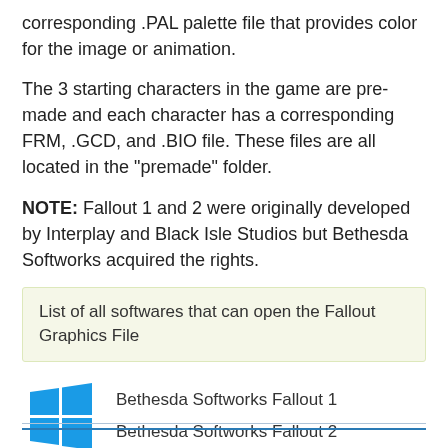corresponding .PAL palette file that provides color for the image or animation.
The 3 starting characters in the game are pre-made and each character has a corresponding FRM, .GCD, and .BIO file. These files are all located in the "premade" folder.
NOTE: Fallout 1 and 2 were originally developed by Interplay and Black Isle Studios but Bethesda Softworks acquired the rights.
List of all softwares that can open the Fallout Graphics File
[Figure (logo): Windows logo (4 blue squares arranged in a grid) with label 'Windows' below]
Bethesda Softworks Fallout 1
Bethesda Softworks Fallout 2